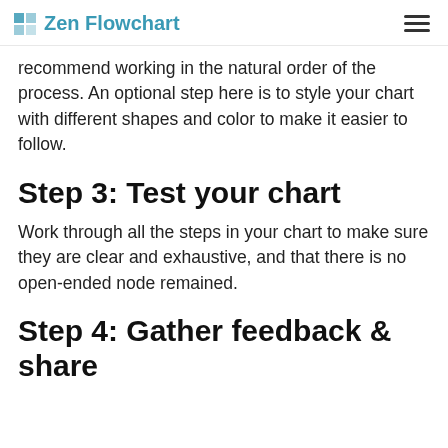Zen Flowchart
recommend working in the natural order of the process. An optional step here is to style your chart with different shapes and color to make it easier to follow.
Step 3: Test your chart
Work through all the steps in your chart to make sure they are clear and exhaustive, and that there is no open-ended node remained.
Step 4: Gather feedback & share